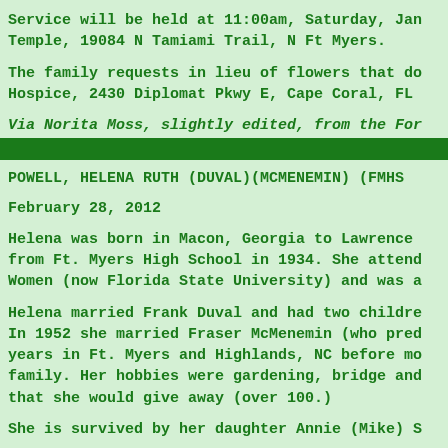Service will be held at 11:00am, Saturday, Jan Temple, 19084 N Tamiami Trail, N Ft Myers.
The family requests in lieu of flowers that do Hospice, 2430 Diplomat Pkwy E, Cape Coral, FL
Via Norita Moss, slightly edited, from the For
POWELL, HELENA RUTH (DUVAL)(MCMENEMIN)    (FMHS
February 28, 2012
Helena was born in Macon, Georgia to Lawrence from Ft. Myers High School in 1934. She attend Women (now Florida State University) and was a
Helena married Frank Duval and had two childre In 1952 she married Fraser McMenemin (who pred years in Ft. Myers and Highlands, NC before mo family. Her hobbies were gardening, bridge and that she would give away (over 100.)
She is survived by her daughter Annie (Mike) S